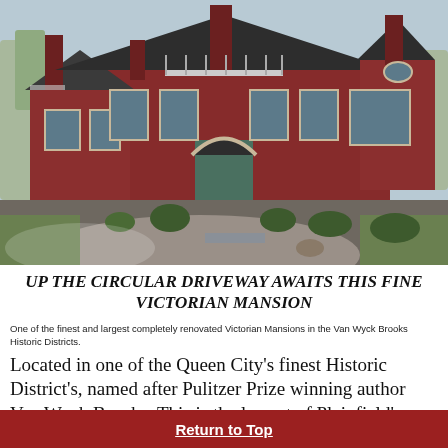[Figure (photo): Exterior photograph of a large red brick Victorian mansion with a circular gravel driveway in the foreground, multiple chimneys, dormer windows, a turret, and surrounding trees and shrubs.]
UP THE CIRCULAR DRIVEWAY AWAITS THIS FINE VICTORIAN MANSION
One of the finest and largest completely renovated Victorian Mansions in the Van Wyck Brooks Historic Districts.
Located in one of the Queen City's finest Historic District's, named after Pulitzer Prize winning author Van Wyck Brooks. This is the largest of Plainfield's historic districts and is
Return to Top